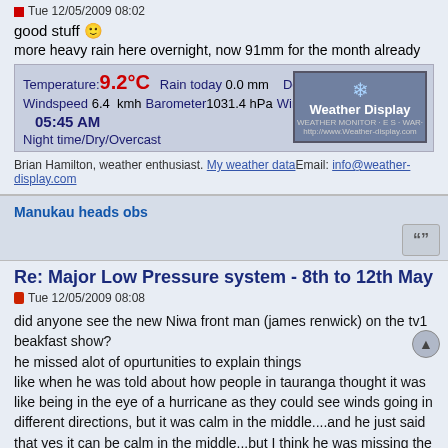Tue 12/05/2009 08:02
good stuff 😀
more heavy rain here overnight, now 91mm for the month already
[Figure (infographic): Weather Display widget showing: Temperature 9.2°C, Rain today 0.0 mm, Dew pt 6.8°C, Windspeed 6.4 kmh, Barometer 1031.4 hPa, Wind direction NW, Time 05:45 AM, Night time/Dry/Overcast. Weather Display logo on the right.]
Brian Hamilton, weather enthusiast. My weather data Email: info@weather-display.com
Manukau heads obs
Re: Major Low Pressure system - 8th to 12th May
Tue 12/05/2009 08:08
did anyone see the new Niwa front man (james renwick) on the tv1 beakfast show?
he missed alot of opurtunities to explain things
like when he was told about how people in tauranga thought it was like being in the eye of a hurricane as they could see winds going in different directions, but it was calm in the middle....and he just said that yes it can be calm in the middle...but I think he was missing the picture being explained, and refering to the middle of a low pressure system in general...not the middle of a CRI